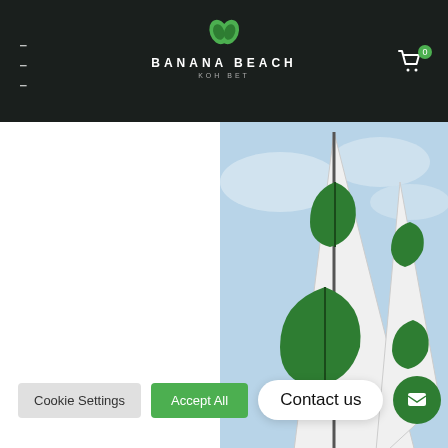BANANA BEACH KOH BET — navigation bar with hamburger menu and cart
[Figure (photo): White sailing boat sails with green tropical leaf logos against a blue sky]
We use cookies on our website to give you the most relevant experience by remembering your preferences and repeat visits. By clicking "Accept All", you consent to the use of ALL the cookies. However, you may visit "Cookie Settings" to provide a controlled consent. Read More
Cookie Settings | Accept All | Contact us